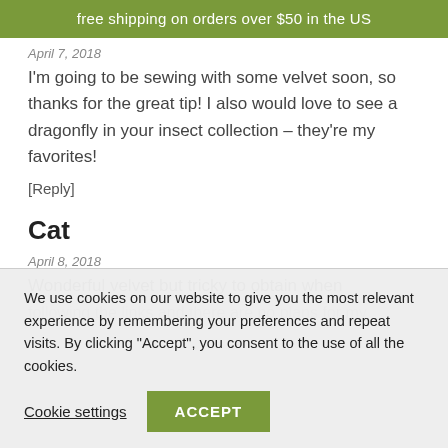free shipping on orders over $50 in the US
April 7, 2018
I'm going to be sewing with some velvet soon, so thanks for the great tip! I also would love to see a dragonfly in your insect collection – they're my favorites!
[Reply]
Cat
April 8, 2018
Wonderful velvet but tricky to obtain when following the links and there are no plans for my...
We use cookies on our website to give you the most relevant experience by remembering your preferences and repeat visits. By clicking "Accept", you consent to the use of all the cookies.
Cookie settings
ACCEPT